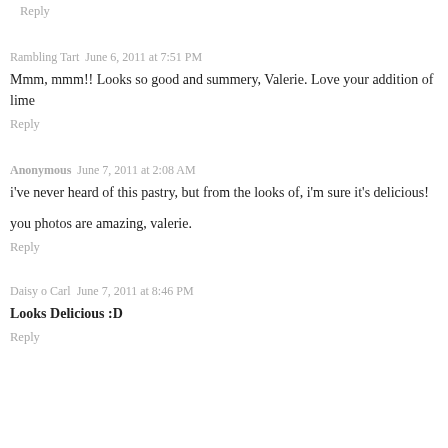Reply
Rambling Tart  June 6, 2011 at 7:51 PM
Mmm, mmm!! Looks so good and summery, Valerie. Love your addition of lime
Reply
Anonymous  June 7, 2011 at 2:08 AM
i've never heard of this pastry, but from the looks of, i'm sure it's delicious!
you photos are amazing, valerie.
Reply
Daisy o Carl  June 7, 2011 at 8:46 PM
Looks Delicious :D
Reply